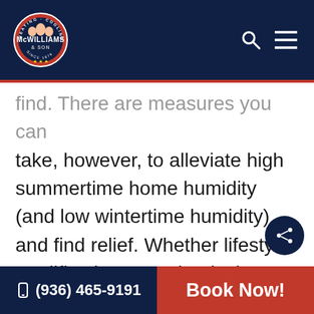McWilliams & Son — navigation bar with logo, search icon, and menu icon
find. There are measures you can take, however, to alleviate high summertime home humidity (and low wintertime humidity), and find relief. Whether lifestyle modifications, mechanical means or both, your comfort, tranquility and pocketbook are well worth the effort.
(936) 465-9191 | Book Now!